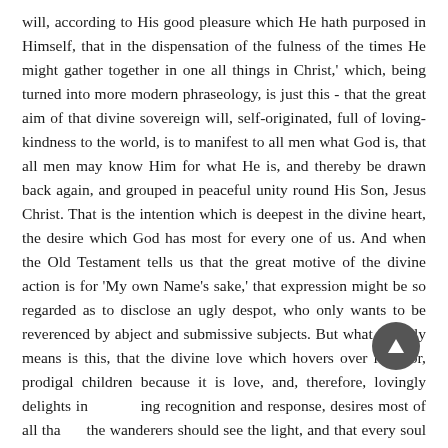will, according to His good pleasure which He hath purposed in Himself, that in the dispensation of the fulness of the times He might gather together in one all things in Christ,' which, being turned into more modern phraseology, is just this - that the great aim of that divine sovereign will, self-originated, full of loving-kindness to the world, is to manifest to all men what God is, that all men may know Him for what He is, and thereby be drawn back again, and grouped in peaceful unity round His Son, Jesus Christ. That is the intention which is deepest in the divine heart, the desire which God has most for every one of us. And when the Old Testament tells us that the great motive of the divine action is for 'My own Name's sake,' that expression might be so regarded as to disclose an ugly despot, who only wants to be reverenced by abject and submissive subjects. But what it really means is this, that the divine love which hovers over its poor, prodigal children because it is love, and, therefore, lovingly delights in being recognition and response, desires most of all that the wanderers should see the light, and that every soul of man should be able to whisper, with loving heart, the name, 'Abba!'